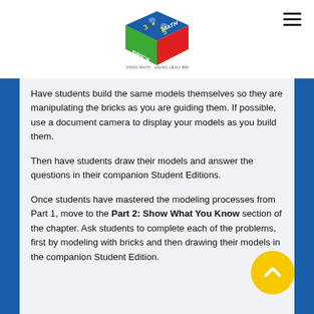[Figure (logo): Brick Math logo — a colorful LEGO-style cube with red, blue, green, and yellow faces featuring numbers and dots, with text 'BRICK MATH' and 'TEACHING MATH USING LEGO BRICKS' around the base.]
Have students build the same models themselves so they are manipulating the bricks as you are guiding them. If possible, use a document camera to display your models as you build them.
Then have students draw their models and answer the questions in their companion Student Editions.
Once students have mastered the modeling processes from Part 1, move to the Part 2: Show What You Know section of the chapter. Ask students to complete each of the problems, first by modeling with bricks and then drawing their models in the companion Student Edition.